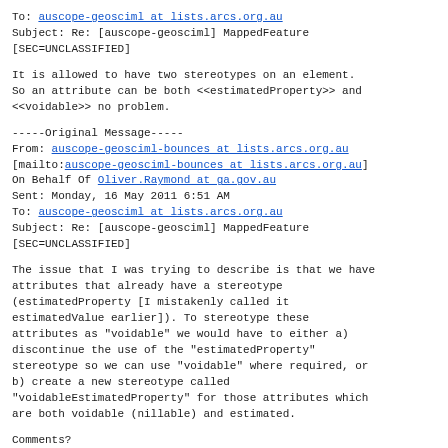To: auscope-geosciml at lists.arcs.org.au
Subject: Re: [auscope-geosciml] MappedFeature [SEC=UNCLASSIFIED]
It is allowed to have two stereotypes on an element. So an attribute can be both <<estimatedProperty>> and <<voidable>> no problem.
-----Original Message-----
From: auscope-geosciml-bounces at lists.arcs.org.au [mailto:auscope-geosciml-bounces at lists.arcs.org.au]
On Behalf Of Oliver.Raymond at ga.gov.au
Sent: Monday, 16 May 2011 6:51 AM
To: auscope-geosciml at lists.arcs.org.au
Subject: Re: [auscope-geosciml] MappedFeature [SEC=UNCLASSIFIED]
The issue that I was trying to describe is that we have attributes that already have a stereotype (estimatedProperty [I mistakenly called it estimatedValue earlier]). To stereotype these attributes as "voidable" we would have to either a) discontinue the use of the "estimatedProperty" stereotype so we can use "voidable" where required, or b) create a new stereotype called "voidableEstimatedProperty" for those attributes which are both voidable (nillable) and estimated.
Comments?